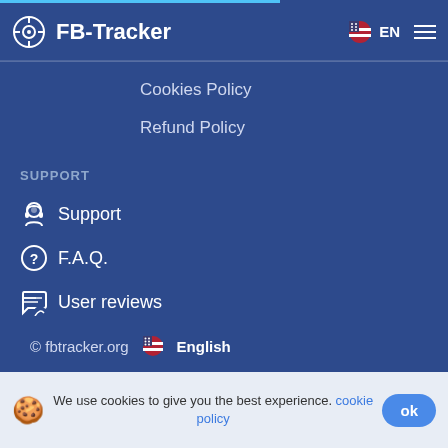FB-Tracker EN
Cookies Policy
Refund Policy
SUPPORT
Support
F.A.Q.
User reviews
© fbtracker.org   English
Hack Facebook Account > Features
> How to Unnoticeably Spy on Facebook?
We use cookies to give you the best experience. cookie policy   ok